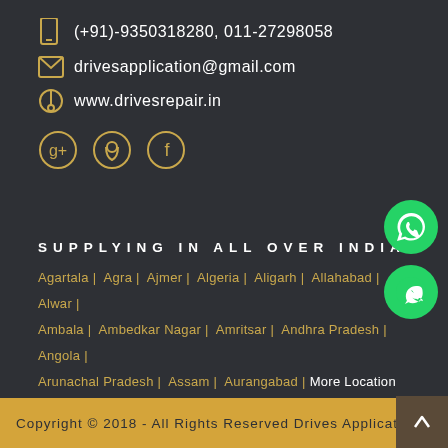(+91)-9350318280, 011-27298058
drivesapplication@gmail.com
www.drivesrepair.in
[Figure (logo): Three social media icon circles: Google+, Location pin, Facebook]
[Figure (logo): WhatsApp logo green circle button - speech bubble icon]
[Figure (logo): WhatsApp logo green circle button - phone icon]
SUPPLYING IN ALL OVER INDIA
Agartala | Agra | Ajmer | Algeria | Aligarh | Allahabad | Alwar | Ambala | Ambedkar Nagar | Amritsar | Andhra Pradesh | Angola | Arunachal Pradesh | Assam | Aurangabad | More Location
Copyright © 2018 - All Rights Reserved Drives Applicati